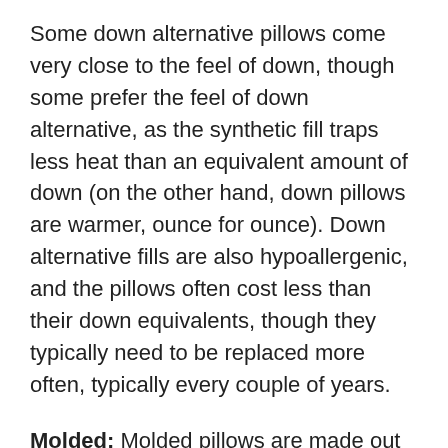Some down alternative pillows come very close to the feel of down, though some prefer the feel of down alternative, as the synthetic fill traps less heat than an equivalent amount of down (on the other hand, down pillows are warmer, ounce for ounce). Down alternative fills are also hypoallergenic, and the pillows often cost less than their down equivalents, though they typically need to be replaced more often, typically every couple of years.
Molded: Molded pillows are made out of memory foam or latex and they may include gel for a cooling effect. They are often firmer than other pillows and are designed to keep their shape through the night. Some are built to offer extra support in specific areas like the neck. For those that like firm support with less give or